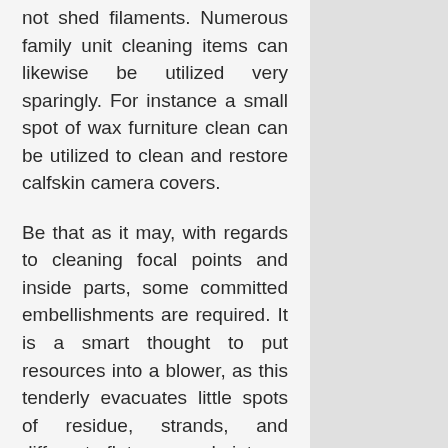not shed filaments. Numerous family unit cleaning items can likewise be utilized very sparingly. For instance a small spot of wax furniture clean can be utilized to clean and restore calfskin camera covers.
Be that as it may, with regards to cleaning focal points and inside parts, some committed embellishments are required. It is a smart thought to put resources into a blower, as this tenderly evacuates little spots of residue, strands, and different flotsam and jetsam without the requirement for physical contact with fragile surfaces. It is likewise incredible